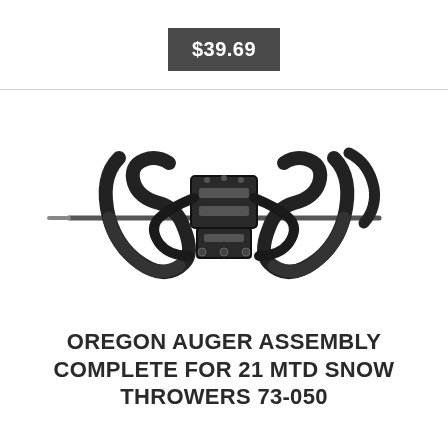$39.69
[Figure (photo): Black snow thrower auger assembly with spiral metal blades and central drive housing, product photo on white background.]
OREGON AUGER ASSEMBLY COMPLETE FOR 21 MTD SNOW THROWERS 73-050